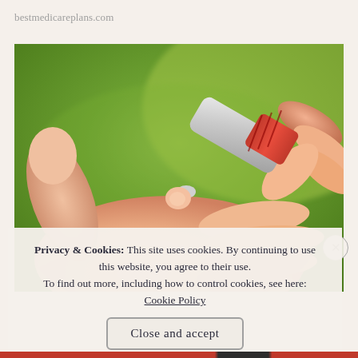bestmedicareplans.com
[Figure (photo): Close-up photo of a person's hand being pricked by a lancet/blood glucose testing device against a green blurred background. Another hand holds the red and silver lancet device aimed at the fingertip.]
Privacy & Cookies: This site uses cookies. By continuing to use this website, you agree to their use. To find out more, including how to control cookies, see here: Cookie Policy
Close and accept